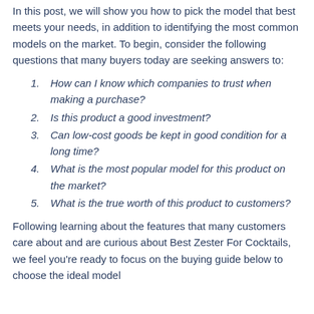In this post, we will show you how to pick the model that best meets your needs, in addition to identifying the most common models on the market. To begin, consider the following questions that many buyers today are seeking answers to:
How can I know which companies to trust when making a purchase?
Is this product a good investment?
Can low-cost goods be kept in good condition for a long time?
What is the most popular model for this product on the market?
What is the true worth of this product to customers?
Following learning about the features that many customers care about and are curious about Best Zester For Cocktails, we feel you're ready to focus on the buying guide below to choose the ideal model